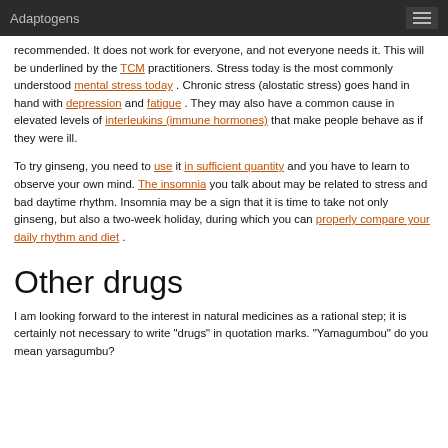Adaptogens
recommended. It does not work for everyone, and not everyone needs it. This will be underlined by the TCM practitioners. Stress today is the most commonly understood mental stress today . Chronic stress (alostatic stress) goes hand in hand with depression and fatigue . They may also have a common cause in elevated levels of interleukins (immune hormones) that make people behave as if they were ill.
To try ginseng, you need to use it in sufficient quantity and you have to learn to observe your own mind. The insomnia you talk about may be related to stress and bad daytime rhythm. Insomnia may be a sign that it is time to take not only ginseng, but also a two-week holiday, during which you can properly compare your daily rhythm and diet .
Other drugs
I am looking forward to the interest in natural medicines as a rational step; it is certainly not necessary to write "drugs" in quotation marks. "Yamagumbou" do you mean yarsagumbu?